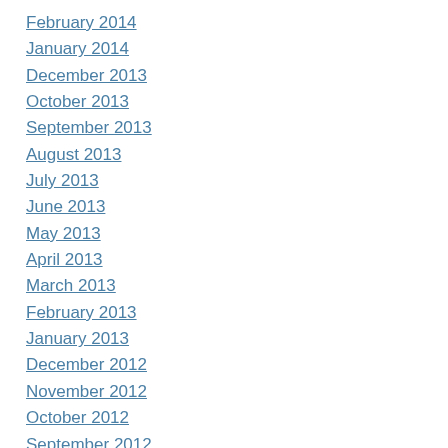February 2014
January 2014
December 2013
October 2013
September 2013
August 2013
July 2013
June 2013
May 2013
April 2013
March 2013
February 2013
January 2013
December 2012
November 2012
October 2012
September 2012
August 2012
July 2012